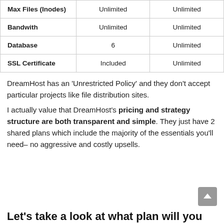|  |  |  |
| --- | --- | --- |
| Max Files (Inodes) | Unlimited | Unlimited |
| Bandwith | Unlimited | Unlimited |
| Database | 6 | Unlimited |
| SSL Certificate | Included | Unlimited |
DreamHost has an 'Unrestricted Policy' and they don't accept particular projects like file distribution sites.
I actually value that DreamHost's pricing and strategy structure are both transparent and simple. They just have 2 shared plans which include the majority of the essentials you'll need– no aggressive and costly upsells.
Let's take a look at what plan will you